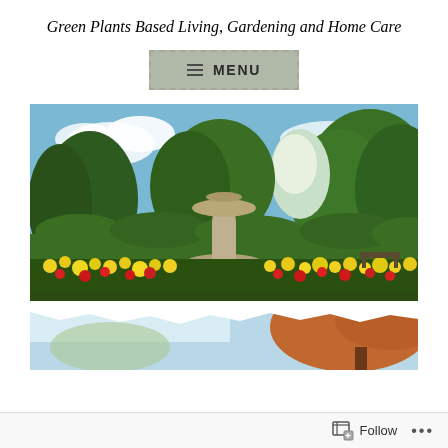Green Plants Based Living, Gardening and Home Care
[Figure (screenshot): Navigation menu button with hamburger icon and MENU text on a gray background with dashed border]
[Figure (photo): Garden photo showing a large stone fountain with cherub figures surrounded by yellow and red flowers and lush green trees under a blue sky]
[Figure (photo): Partial view of a garden scene with light sky and a tree with orange/brown foliage, cropped at bottom of page]
Follow ...